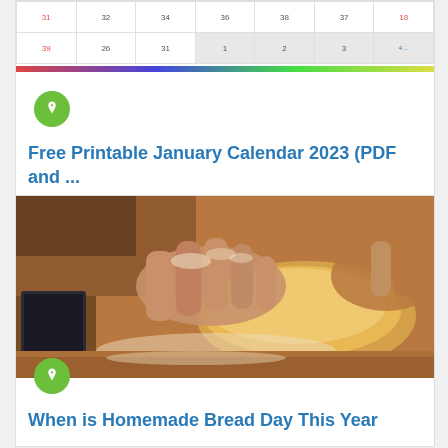[Figure (screenshot): Partial calendar image showing rows of dates, with a green pin icon overlaid at bottom left]
Free Printable January Calendar 2023 (PDF and ...
[Figure (photo): Close-up photo of hands covered in flour kneading bread dough on a wooden surface, with a green pin icon at bottom left]
When is Homemade Bread Day This Year